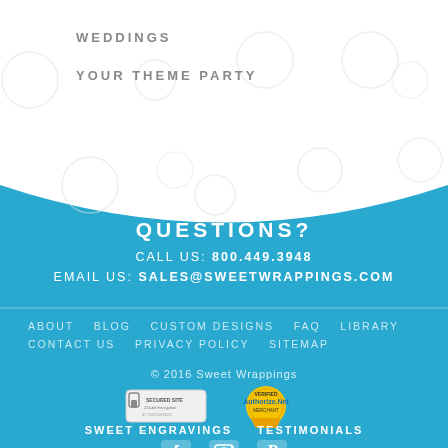WEDDINGS
YOUR THEME PARTY
[Figure (other): Website footer section with blue curved background, contact info, navigation links, copyright, trust badges, and social icons]
QUESTIONS?
CALL US: 800.449.3948
EMAIL US: SALES@SWEETWRAPPINGS.COM
ABOUT   BLOG   CUSTOM DESIGNS   FAQ   LIBRARY   CONTACT US   PRIVACY POLICY   SITEMAP
© 2016 Sweet Wrappings
SWEET ENGRAVINGS   TESTIMONIALS